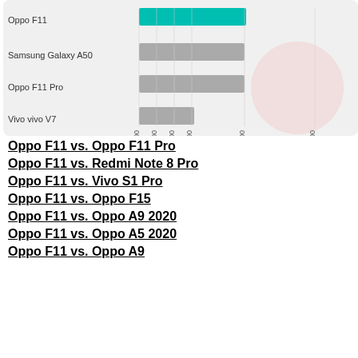[Figure (bar-chart): Battery capacity comparison]
Oppo F11 vs. Oppo F11 Pro
Oppo F11 vs. Redmi Note 8 Pro
Oppo F11 vs. Vivo S1 Pro
Oppo F11 vs. Oppo F15
Oppo F11 vs. Oppo A9 2020
Oppo F11 vs. Oppo A5 2020
Oppo F11 vs. Oppo A9